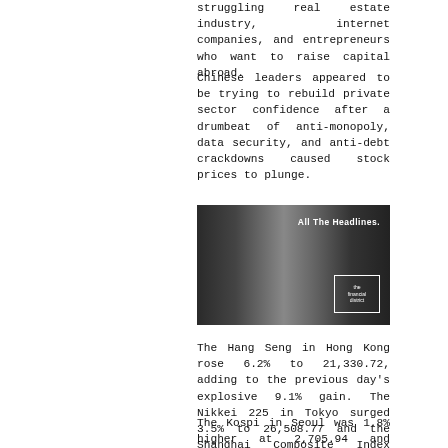struggling real estate industry, internet companies, and entrepreneurs who want to raise capital abroad.
Chinese leaders appeared to be trying to rebuild private sector confidence after a drumbeat of anti-monopoly, data security, and anti-debt crackdowns caused stock prices to plunge.
[Figure (photo): Black and white photo of a well-dressed man with glasses smiling, with 'All The Headlines.' text and 'the financial district' logo in the upper right corner.]
The Hang Seng in Hong Kong rose 6.2% to 21,330.72, adding to the previous day's explosive 9.1% gain. The Nikkei 225 in Tokyo surged 3.5% to 26,508.77 and the Shanghai Composite Index advanced 2.6% to 3,252.97.
The Kospi in Seoul was 1.8% higher at 2,705.94 and Sydney's S&P-ASX 200 added 1.1% to 7,257.30. India's Sensex opened up 1.8% at 57,811.37. New Zealand